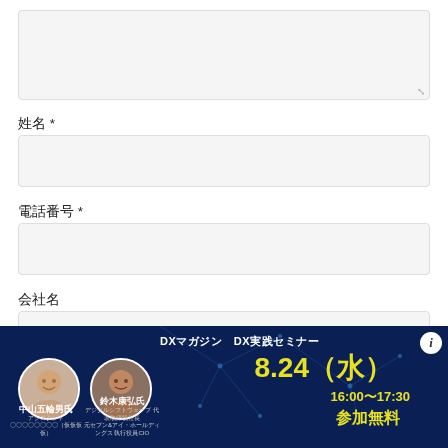[Figure (screenshot): Large multi-line text input box (textarea) with a resize handle icon at bottom-right, light gray background]
姓名 *
[Figure (screenshot): Single-line text input field, light gray background]
電話番号 *
[Figure (screenshot): Single-line text input field, light gray background]
会社名
[Figure (screenshot): Single-line text input field, light gray background, partially visible at bottom]
[Figure (infographic): Dark blue banner ad for 'DXマガジン DX実践セミナー' featuring two circular photos of speakers (中山五輪男氏 and 鈴木康弘氏), date 8.24（水）16:00～17:30, 参加無料 in yellow text, info icon top right]